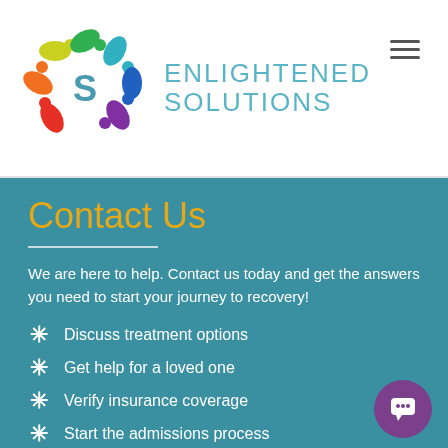[Figure (logo): Enlightened Solutions logo: colorful circular figures with an 'S' symbol, alongside text 'ENLIGHTENED SOLUTIONS' in teal]
Contact Us
We are here to help. Contact us today and get the answers you need to start your journey to recovery!
Discuss treatment options
Get help for a loved one
Verify insurance coverage
Start the admissions process